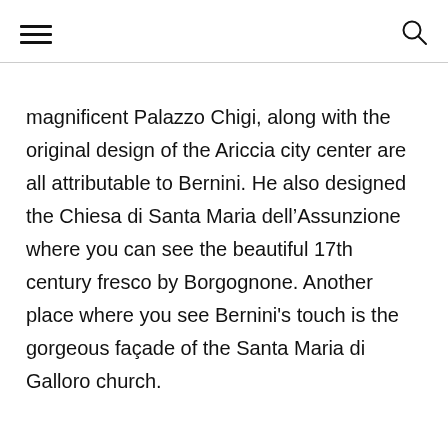[hamburger menu icon] [search icon]
magnificent Palazzo Chigi, along with the original design of the Ariccia city center are all attributable to Bernini. He also designed the Chiesa di Santa Maria dell’Assunzione where you can see the beautiful 17th century fresco by Borgognone. Another place where you see Bernini's touch is the gorgeous façade of the Santa Maria di Galloro church.